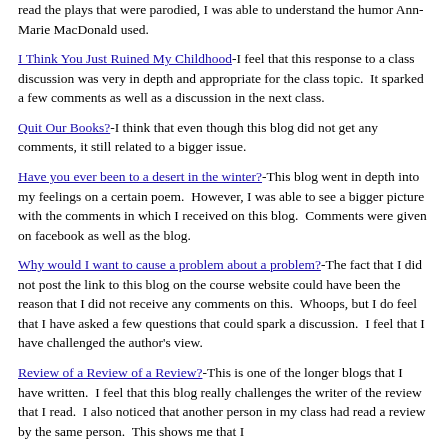read the plays that were parodied, I was able to understand the humor Ann-Marie MacDonald used.
I Think You Just Ruined My Childhood-I feel that this response to a class discussion was very in depth and appropriate for the class topic.  It sparked a few comments as well as a discussion in the next class.
Quit Our Books?-I think that even though this blog did not get any comments, it still related to a bigger issue.
Have you ever been to a desert in the winter?-This blog went in depth into my feelings on a certain poem.  However, I was able to see a bigger picture with the comments in which I received on this blog.  Comments were given on facebook as well as the blog.
Why would I want to cause a problem about a problem?-The fact that I did not post the link to this blog on the course website could have been the reason that I did not receive any comments on this.  Whoops, but I do feel that I have asked a few questions that could spark a discussion.  I feel that I have challenged the author's view.
Review of a Review of a Review?-This is one of the longer blogs that I have written.  I feel that this blog really challenges the writer of the review that I read.  I also noticed that another person in my class had read a review by the same person.  This shows me that I